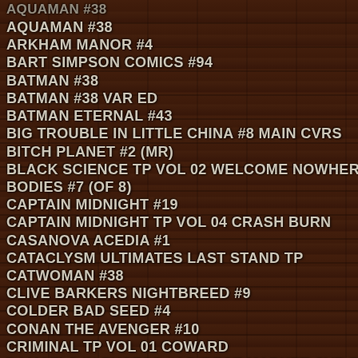AQUAMAN #38
ARKHAM MANOR #4
BART SIMPSON COMICS #94
BATMAN #38
BATMAN #38 VAR ED
BATMAN ETERNAL #43
BIG TROUBLE IN LITTLE CHINA #8 MAIN CVRS
BITCH PLANET #2 (MR)
BLACK SCIENCE TP VOL 02 WELCOME NOWHERE
BODIES #7 (OF 8)
CAPTAIN MIDNIGHT #19
CAPTAIN MIDNIGHT TP VOL 04 CRASH BURN
CASANOVA ACEDIA #1
CATACLYSM ULTIMATES LAST STAND TP
CATWOMAN #38
CLIVE BARKERS NIGHTBREED #9
COLDER BAD SEED #4
CONAN THE AVENGER #10
CRIMINAL TP VOL 01 COWARD
DAMSELS IN EXCESS #4 DIRECT MARKET CVR B
DANGER CLUB #6
DANGER CLUB #6